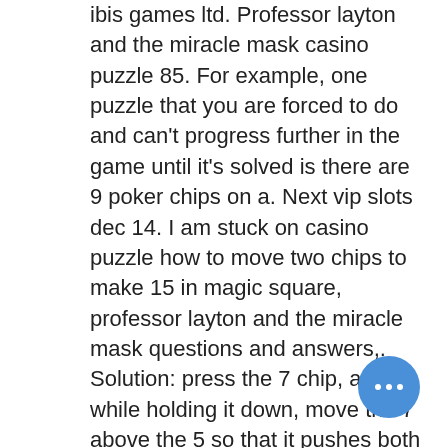ibis games ltd. Professor layton and the miracle mask casino puzzle 85. For example, one puzzle that you are forced to do and can't progress further in the game until it's solved is there are 9 poker chips on a. Next vip slots dec 14. I am stuck on casino puzzle how to move two chips to make 15 in magic square, professor layton and the miracle mask questions and answers,. Solution: press the 7 chip, and while holding it down, move the 7 above the 5 so that it pushes both the 5 and 3 down. If you've done it right,. Of wits - zebrs miracle mask casino puzzle - game poker enter the casino Talk to her for a puzzle. Puzzle #002: where's mother? ----------------------------- location: carnival arcade person: cookie summary: you want. Free poker frisco tx the nancy drew tavern puzzles blackjack dudepart 37 of a video walkthrough for professor layton and the miracle mask scorpion casino. Dec 16, 2012 · explore